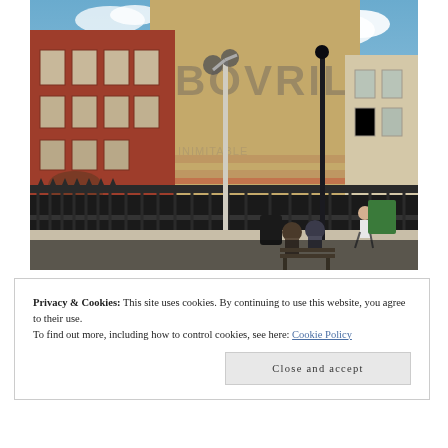[Figure (photo): Street photograph showing a large brick building with a faded 'BOVRIL' ghost sign painted on its side wall. Victorian red brick architecture with sash windows on the left, a streetlamp in the center, iron railings in the foreground, people sitting on a bench, and a blue sky with clouds in the background. Urban London street scene.]
Privacy & Cookies: This site uses cookies. By continuing to use this website, you agree to their use.
To find out more, including how to control cookies, see here: Cookie Policy
Close and accept